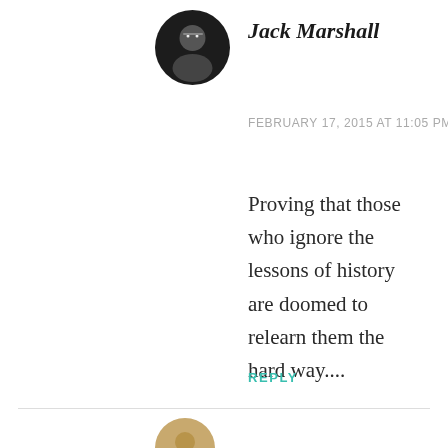[Figure (photo): Circular avatar photo of Jack Marshall, a person in dark clothing with glasses]
Jack Marshall
FEBRUARY 17, 2015 AT 11:05 PM
Proving that those who ignore the lessons of history are doomed to relearn them the hard way....
REPLY
[Figure (photo): Circular avatar photo partially visible at bottom of page]